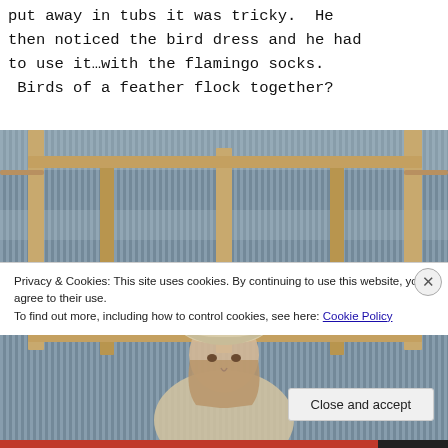put away in tubs it was tricky. He then noticed the bird dress and he had to use it…with the flamingo socks. Birds of a feather flock together?
[Figure (photo): A person wearing a beige cap partially visible behind a wooden-framed corrugated plastic or metal panel structure]
Privacy & Cookies: This site uses cookies. By continuing to use this website, you agree to their use.
To find out more, including how to control cookies, see here: Cookie Policy